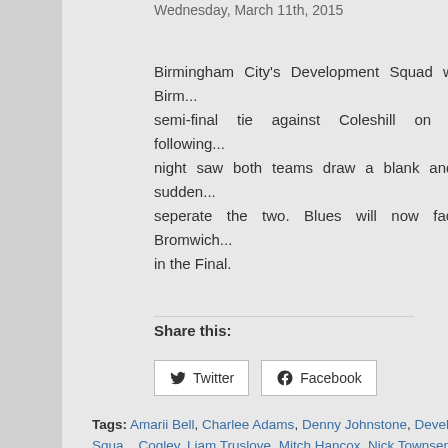Wednesday, March 11th, 2015
Birmingham City's Development Squad won their Birm... semi-final tie against Coleshill on penalties following... night saw both teams draw a blank and it took sudden... seperate the two. Blues will now face West Bromwich... in the Final.
Share this:
[Figure (other): Twitter and Facebook share buttons]
Tags: Amarii Bell, Charlee Adams, Denny Johnstone, Development Squ..., Cogley, Liam Truslove, Mitch Hancox, Nick Townsend, Reece Brown, Viv... Harding
Posted in Birmingham City, Reviews | 17 Comments »
Blues and Social Media